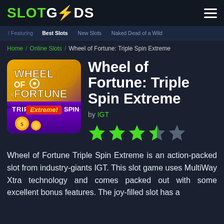SLOT GODS
Featuring / Best Slots / New Slots / Naked Dead of a Wild
Home / Online Slots / Wheel of Fortune: Triple Spin Extreme
[Figure (illustration): Wheel of Fortune: Triple Spin Extreme slot game thumbnail — golden/purple gradient background with stylized text 'WHEEL OF FORTUNE TRIPLE EXTREME! SPIN']
Wheel of Fortune: Triple Spin Extreme
by IGT
[Figure (other): Star rating: 4 out of 5 green stars (3 full stars, 1 half star, 1 empty grey star)]
Wheel of Fortune Triple Spin Extreme is an action-packed slot from industry-giants IGT. This slot game uses MultiWay Xtra technology and comes packed out with some excellent bonus features. The joy-filled slot has a